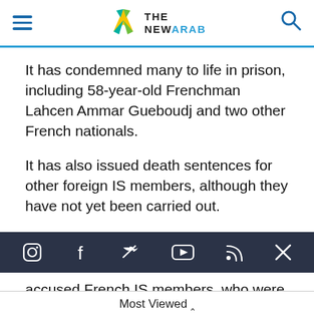The New Arab
It has condemned many to life in prison, including 58-year-old Frenchman Lahcen Ammar Gueboudj and two other French nationals.
It has also issued death sentences for other foreign IS members, although they have not yet been carried out.
[Figure (other): Social media icon bar with Instagram, Facebook, Twitter, YouTube, RSS, and X icons on dark blue/navy background]
accused French IS members, who were caught in Syria and transferred to Iraqi custody in February.
Government sources have told AFP that Baghdad would be willing to try all foreigners currently held in
Most Viewed ^